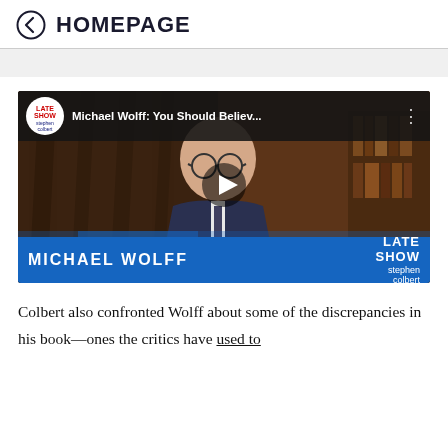← HOMEPAGE
[Figure (screenshot): YouTube video thumbnail: Michael Wolff on The Late Show with Stephen Colbert. Title reads 'Michael Wolff: You Should Believ...' with Late Show Stephen Colbert logo. Lower blue bar shows 'MICHAEL WOLFF' in white text with Late Show Stephen Colbert branding. Play button visible in center.]
Colbert also confronted Wolff about some of the discrepancies in his book—ones the critics have used to